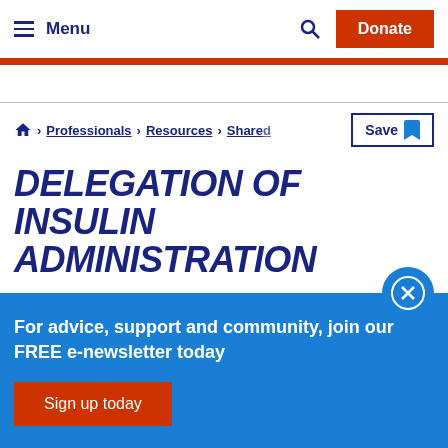Menu | Donate
Professionals > Resources > Shared
DELEGATION OF INSULIN ADMINISTRATION
For advice, support and community, join our FREE e-newsletter today
Sign up today